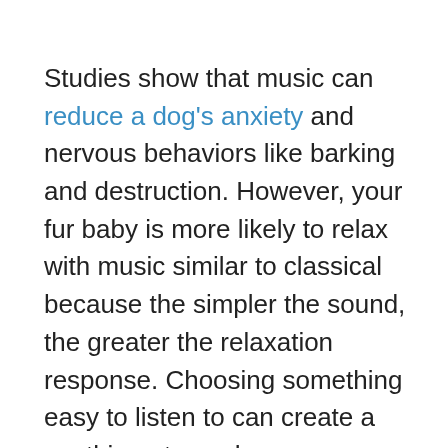Studies show that music can reduce a dog's anxiety and nervous behaviors like barking and destruction. However, your fur baby is more likely to relax with music similar to classical because the simpler the sound, the greater the relaxation response. Choosing something easy to listen to can create a soothing atmosphere.

There are a lot of dog relaxation music videos ...